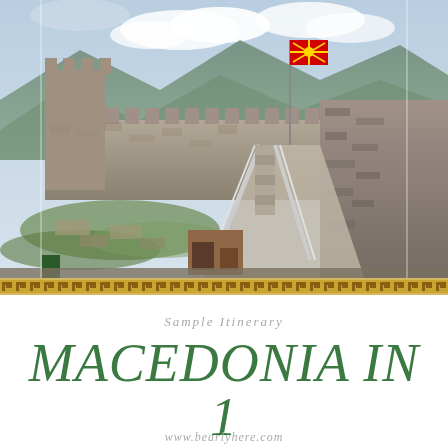[Figure (photo): Photograph of a medieval stone castle/fortress (Ohrid Fortress, Macedonia) showing stone walls, battlements, staircases with metal railings, a Macedonian flag, grass courtyard with ruins, and mountains with clouds in the background.]
Sample Itinerary
MACEDONIA IN 1 WEEK
www.bearlyhere.com